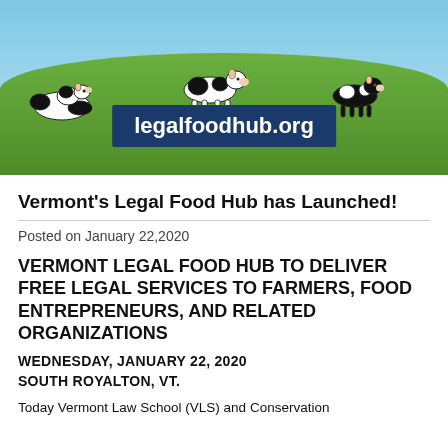[Figure (photo): Photo of cows on a green hillside under blue sky with a dark blue banner overlay reading legalfoodhub.org]
Vermont's Legal Food Hub has Launched!
Posted on January 22,2020
VERMONT LEGAL FOOD HUB TO DELIVER FREE LEGAL SERVICES TO FARMERS, FOOD ENTREPRENEURS, AND RELATED ORGANIZATIONS
WEDNESDAY, JANUARY 22, 2020
SOUTH ROYALTON, VT.
Today Vermont Law School (VLS) and Conservation